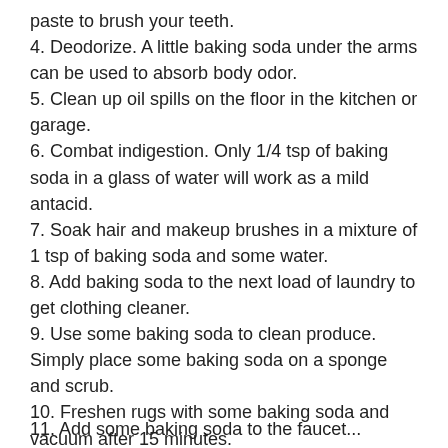paste to brush your teeth.
4. Deodorize. A little baking soda under the arms can be used to absorb body odor.
5. Clean up oil spills on the floor in the kitchen or garage.
6. Combat indigestion. Only 1/4 tsp of baking soda in a glass of water will work as a mild antacid.
7. Soak hair and makeup brushes in a mixture of 1 tsp of baking soda and some water.
8. Add baking soda to the next load of laundry to get clothing cleaner.
9. Use some baking soda to clean produce. Simply place some baking soda on a sponge and scrub.
10. Freshen rugs with some baking soda and vacuum after 15 minutes.
11. Add some baking soda to the faucet...